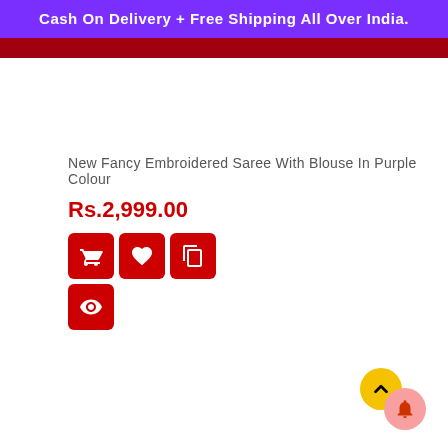Cash On Delivery + Free Shipping All Over India.
New Fancy Embroidered Saree With Blouse In Purple Colour
Rs.2,999.00
[Figure (infographic): Row of three red square icon buttons: shopping/cart icon, heart/wishlist icon, copy/compare icon. Below them, a single red square icon button with an eye icon.]
[Figure (infographic): Scroll-to-top button (yellow circle with upward chevron) overlapping a notification bell button (pink/salmon circle with bell icon), positioned in the bottom-right corner.]